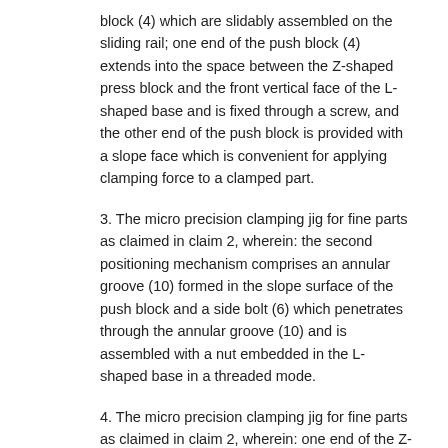block (4) which are slidably assembled on the sliding rail; one end of the push block (4) extends into the space between the Z-shaped press block and the front vertical face of the L-shaped base and is fixed through a screw, and the other end of the push block is provided with a slope face which is convenient for applying clamping force to a clamped part.
3. The micro precision clamping jig for fine parts as claimed in claim 2, wherein: the second positioning mechanism comprises an annular groove (10) formed in the slope surface of the push block and a side bolt (6) which penetrates through the annular groove (10) and is assembled with a nut embedded in the L-shaped base in a threaded mode.
4. The micro precision clamping jig for fine parts as claimed in claim 2, wherein: one end of the Z-shaped pressing block (3) which forms a clamping space with the stop block is a slender thin surface.
5. The micro precision clamping jig for fine parts as claimed in claim 1, wherein: the first positioning mechanism comprises a bottom block (2) which is...